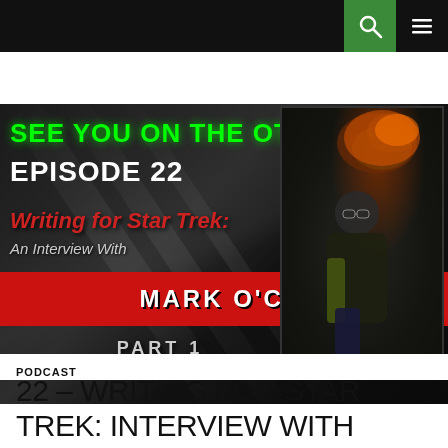[Figure (screenshot): Website navigation bar with dark background, green search icon button and hamburger menu icon on right side]
[Figure (infographic): Podcast episode banner with dark/black background featuring diagonal light rays. Green text 'SEE YOU ON THE OTHER SIDE', white text 'EPISODE 22', red italic text 'Writing for Star Trek:', grey italic text 'An Interview With', red bar with white bold text 'MARK O'CONNELL', grey text 'PART 1', and a photo of a person on the right side with orange/fire light behind them.]
PODCAST
22 – WRITING FOR STAR TREK: INTERVIEW WITH MARK O'CONNELL – PART 1